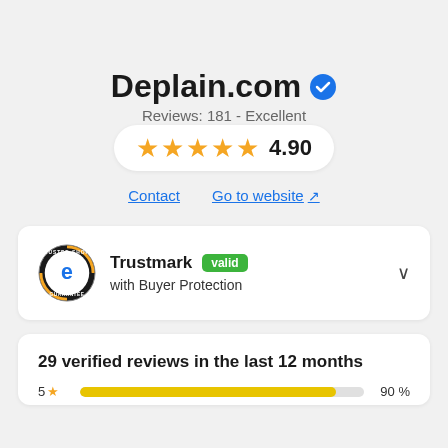Deplain.com
Reviews: 181 - Excellent
[Figure (other): Five yellow stars rating display showing 4.90]
Contact   Go to website
Trustmark valid
with Buyer Protection
29 verified reviews in the last 12 months
[Figure (bar-chart): Rating distribution]